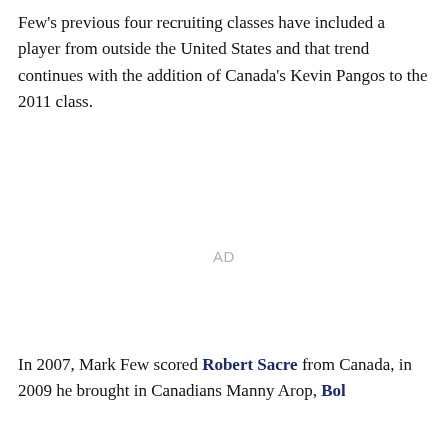Few's previous four recruiting classes have included a player from outside the United States and that trend continues with the addition of Canada's Kevin Pangos to the 2011 class.
[Figure (other): AD placeholder text centered on page]
In 2007, Mark Few scored Robert Sacre from Canada, in 2009 he brought in Canadians Manny Arop, Bol